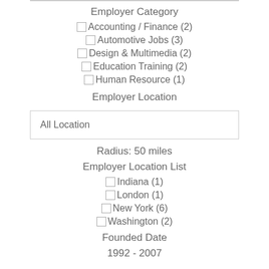Employer Category
Accounting / Finance (2)
Automotive Jobs (3)
Design & Multimedia (2)
Education Training (2)
Human Resource (1)
Employer Location
All Location
Radius: 50 miles
Employer Location List
Indiana (1)
London (1)
New York (6)
Washington (2)
Founded Date
1992 - 2007